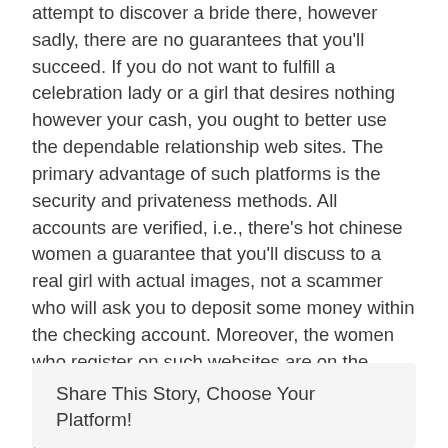attempt to discover a bride there, however sadly, there are no guarantees that you'll succeed. If you do not want to fulfill a celebration lady or a girl that desires nothing however your cash, you ought to better use the dependable relationship web sites. The primary advantage of such platforms is the security and privateness methods. All accounts are verified, i.e., there's hot chinese women a guarantee that you'll discuss to a real girl with actual images, not a scammer who will ask you to deposit some money within the checking account. Moreover, the women who register on such websites are on the lookout for marriage, similar to you do. In different words, you've gotten the identical aim, and that, in turn, will increase the chances of success for both fiancés and brides.
Share This Story, Choose Your Platform!